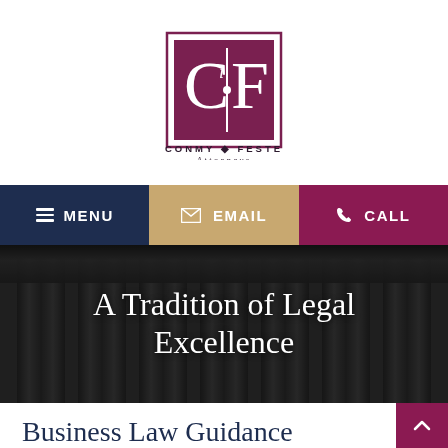[Figure (logo): Conmy Feste Attorneys logo — square maroon border with 'CiF' monogram in white on maroon background, below reads 'CONMY ◆ FESTE Attorneys']
CONMY ◆ FESTE Attorneys
[Figure (infographic): Three-section navigation bar: dark navy 'MENU' with hamburger icon, tan/gold 'EMAIL' with envelope icon, maroon 'CALL' with phone icon]
[Figure (photo): Dark greyscale photo of classical stone columns, overlaid with white text 'A Tradition of Legal Excellence']
A Tradition of Legal Excellence
Business Law Guidance